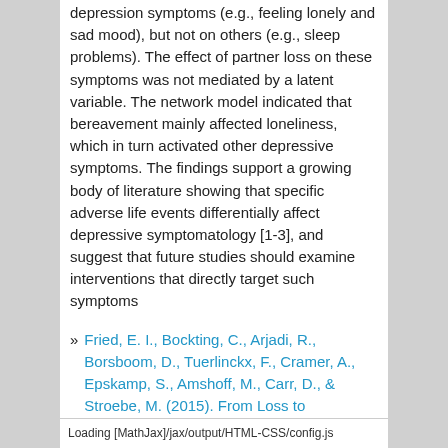depression symptoms (e.g., feeling lonely and sad mood), but not on others (e.g., sleep problems). The effect of partner loss on these symptoms was not mediated by a latent variable. The network model indicated that bereavement mainly affected loneliness, which in turn activated other depressive symptoms. The findings support a growing body of literature showing that specific adverse life events differentially affect depressive symptomatology [1-3], and suggest that future studies should examine interventions that directly target such symptoms
Fried, E. I., Bockting, C., Arjadi, R., Borsboom, D., Tuerlinckx, F., Cramer, A., Epskamp, S., Amshoff, M., Carr, D., & Stroebe, M. (2015). From Loss to Loneliness: The Relationship Between Bereavement and Depressive Symptoms. Journal of Abnormal Psychology.
[1] Keller, M. C., Neale, M. C., & Kendler, K. S. (2007). Association of different adverse life events with distinct patterns of depressive symptoms. The American Journal of Psychiatry.
Loading [MathJax]/jax/output/HTML-CSS/config.js